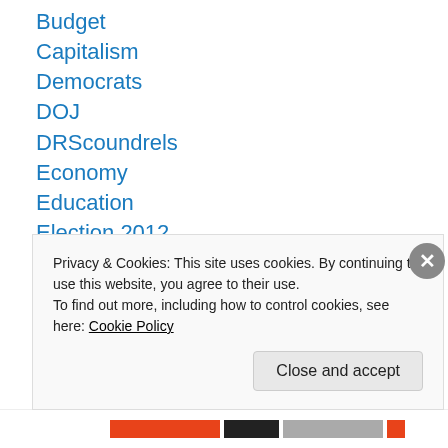Budget
Capitalism
Democrats
DOJ
DRScoundrels
Economy
Education
Election 2012
Elections
Gun Rights
Health Care
History
Immigration
Privacy & Cookies: This site uses cookies. By continuing to use this website, you agree to their use. To find out more, including how to control cookies, see here: Cookie Policy
Close and accept